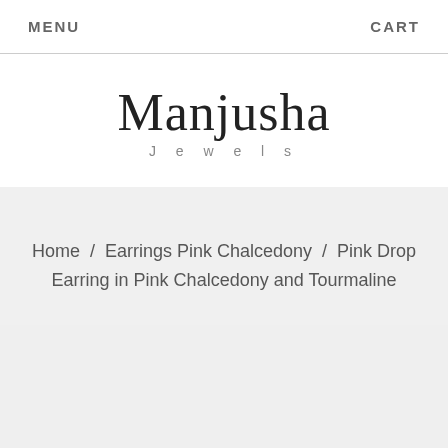MENU   CART
Manjusha
Jewels
Home / Earrings Pink Chalcedony / Pink Drop Earring in Pink Chalcedony and Tourmaline
[Figure (logo): WhatsApp click to chat widget with green WhatsApp logo icon on black rounded pill background]